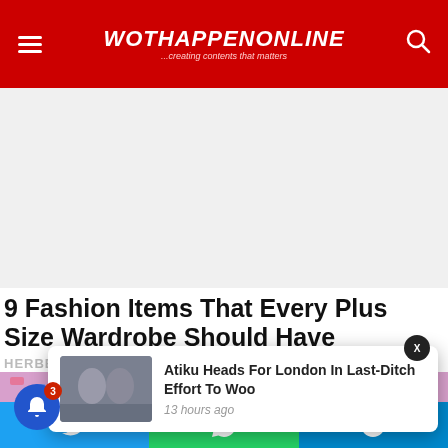WOTHAPPENONLINE ...creating contents that matters
9 Fashion Items That Every Plus Size Wardrobe Should Have
HERBEAUTY
[Figure (photo): Colorful confetti with a hand raised, pink and blue tones]
[Figure (photo): Popup card: thumbnail of two men shaking hands. Text: Atiku Heads For London In Last-Ditch Effort To Woo. 13 hours ago]
[Figure (infographic): Social share bar with Twitter, WhatsApp, and Telegram icons]